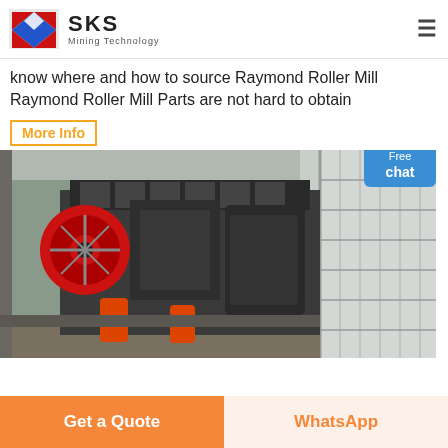SKS Mining Technology
know where and how to source Raymond Roller Mill
Raymond Roller Mill Parts are not hard to obtain
More Info
[Figure (photo): Industrial Raymond Roller Mill machinery with red flywheel and drive components visible in a factory/industrial setting]
Get a Quote
WhatsApp